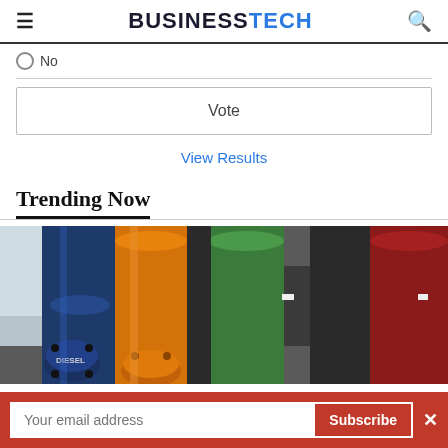BUSINESSTECH
No
Vote
View Results
Trending Now
[Figure (photo): Colorful fuel pipes at a fuel station, including blue, orange, green, and red pipes. A blue valve labeled DIESEL is visible in the foreground.]
Your email address  Subscribe  ×